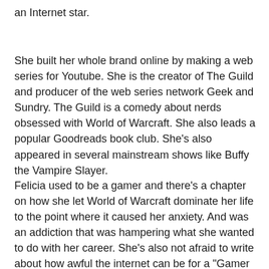an Internet star.
She built her whole brand online by making a web series for Youtube. She is the creator of The Guild and producer of the web series network Geek and Sundry. The Guild is a comedy about nerds obsessed with World of Warcraft. She also leads a popular Goodreads book club. She's also appeared in several mainstream shows like Buffy the Vampire Slayer.
Felicia used to be a gamer and there's a chapter on how she let World of Warcraft dominate her life to the point where it caused her anxiety. And was an addiction that was hampering what she wanted to do with her career. She's also not afraid to write about how awful the internet can be for a "Gamer Gate" style...